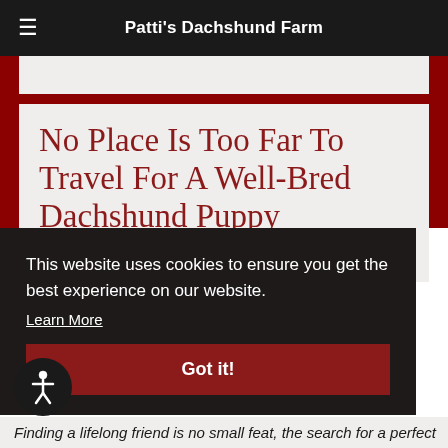Patti's Dachshund Farm
No Place Is Too Far To Travel For A Well-Bred Dachshund Puppy
Posted August 26, 2015 by Patricia Gann
This website uses cookies to ensure you get the best experience on our website.
Learn More
Got it!
Finding a lifelong friend is no small feat, the search for a perfect